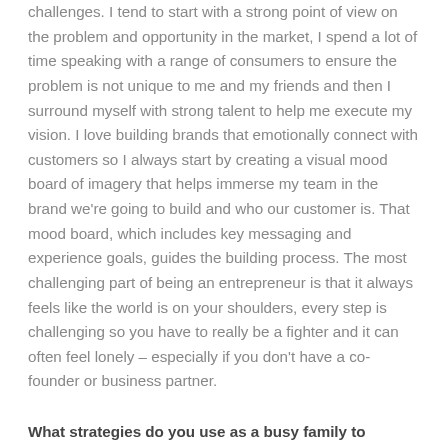challenges. I tend to start with a strong point of view on the problem and opportunity in the market, I spend a lot of time speaking with a range of consumers to ensure the problem is not unique to me and my friends and then I surround myself with strong talent to help me execute my vision. I love building brands that emotionally connect with customers so I always start by creating a visual mood board of imagery that helps immerse my team in the brand we're going to build and who our customer is. That mood board, which includes key messaging and experience goals, guides the building process. The most challenging part of being an entrepreneur is that it always feels like the world is on your shoulders, every step is challenging so you have to really be a fighter and it can often feel lonely – especially if you don't have a co-founder or business partner.
What strategies do you use as a busy family to